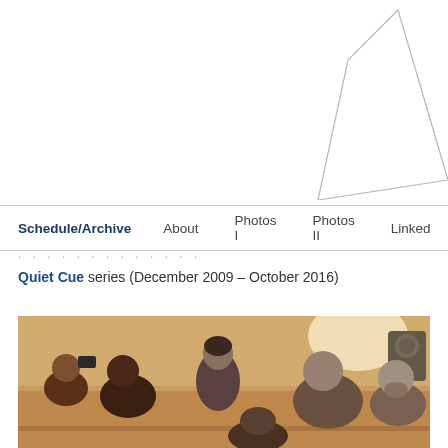[Figure (illustration): Decorative angular line drawing forming an irregular quadrilateral shape in the upper right area of the page]
Schedule/Archive   About   Photos I   Photos II   Linked
. . . . . . . . . . . . .
Quiet Cue series (December 2009 – October 2016)
[Figure (photo): Photograph of a group of people sitting on the floor in a warm-lit room, as if attending an intimate music or art event. Several audience members are visible, some with cameras, in a casual indoor setting.]